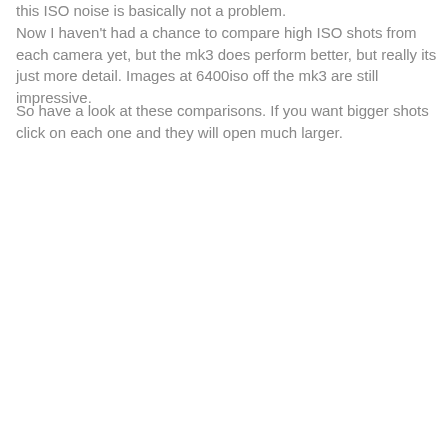this ISO noise is basically not a problem. Now I haven't had a chance to compare high ISO shots from each camera yet, but the mk3 does perform better, but really its just more detail. Images at 6400iso off the mk3 are still impressive.
So have a look at these comparisons. If you want bigger shots click on each one and they will open much larger.